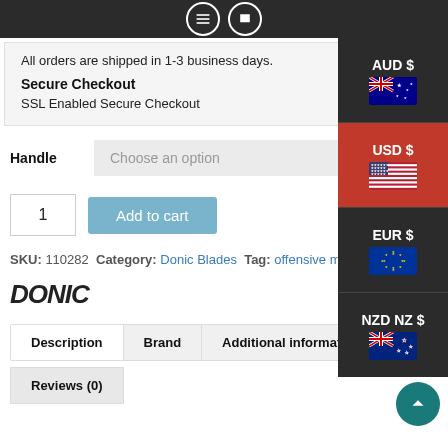Navigation icons bar
All orders are shipped in 1-3 business days.
Secure Checkout
SSL Enabled Secure Checkout
Handle  Choose an option
1  Add to cart
SKU: 110282  Category: Donic Blades  Tag: offensive minu...
[Figure (logo): DONIC brand logo in bold italic black text]
Description  Brand  Additional information
Reviews (0)
[Figure (infographic): Currency selection panel showing AUD $, USD $ (active/selected in red), EUR $, NZD NZ$ with respective country flags]